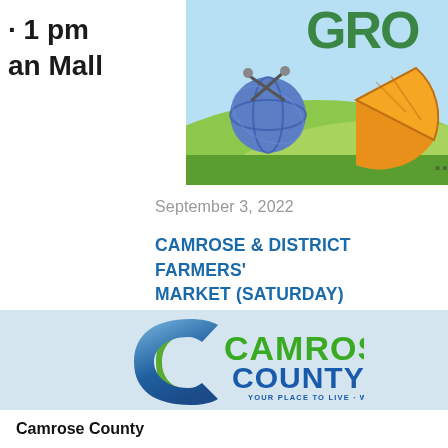· 1 pm
an Mall
[Figure (illustration): Colorful illustration with yarn ball, knitting needles, pie slice, and large GRO text — farmers market promotional graphic]
September 3, 2022
CAMROSE & DISTRICT FARMERS' MARKET (SATURDAY)
[Figure (logo): Camrose County logo with blue-green swoosh C shape, green text CAMROSE COUNTY, tagline YOUR PLACE TO LIVE · WORK · PLAY]
Camrose County